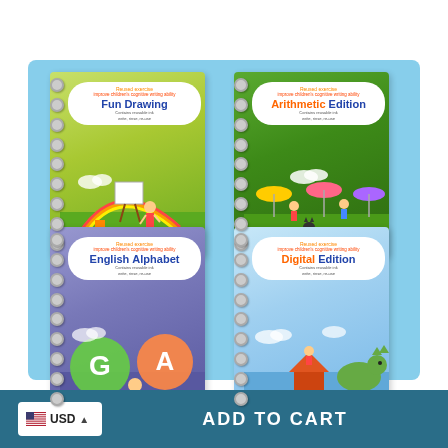[Figure (illustration): Four spiral-bound children's educational workbooks arranged in a 2x2 grid on a light blue background. Top-left: yellow-green 'Fun Drawing' book with kids painting scene. Top-right: dark green 'Arithmetic Edition' book with children playing scene. Bottom-left: purple 'English Alphabet' book with alphabet balloons. Bottom-right: light blue 'Digital Edition' book with dragon/fantasy scene. Each book has a white cloud-shaped label with title. Below each book is an orange rounded label: 'Drawing', 'Math', 'English Alphabet', 'Digital Edition'.]
USD
ADD TO CART